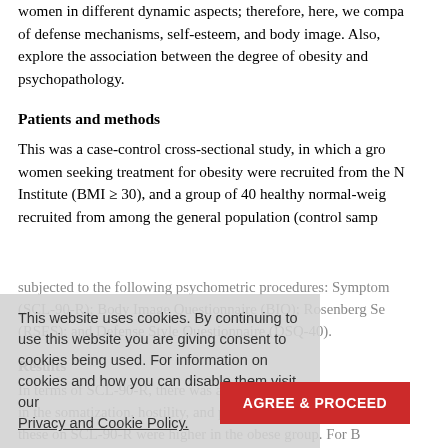women in different dynamic aspects; therefore, here, we compare of defense mechanisms, self-esteem, and body image. Also, explore the association between the degree of obesity and psychopathology.
Patients and methods
This was a case-control cross-sectional study, in which a group of women seeking treatment for obesity were recruited from the National Institute (BMI ≥ 30), and a group of 40 healthy normal-weight women recruited from among the general population (control sample) were subjected to the following psychometric procedures: Symptom Checklist (SCL-90-R); Body Image Questionnaire (BIQ); Rosenberg Self-Esteem (RSES); and Defense Style Questionnaire (DSQ-40).
Results
In terms of SCL-90-R, there was a significant difference between the groups in the somatization, hostility, and paranoid ideation subscales; scores on these on SCL-90-R were higher in the obese group. For BIQ, there was a statistically highly significant difference between the two groups; obese individuals had a disturbed body image compared with those in the control.
For DSQ-40, the obese women showed excessive use of immature
This website uses cookies. By continuing to use this website you are giving consent to cookies being used. For information on cookies and how you can disable them visit our Privacy and Cookie Policy.
AGREE & PROCEED